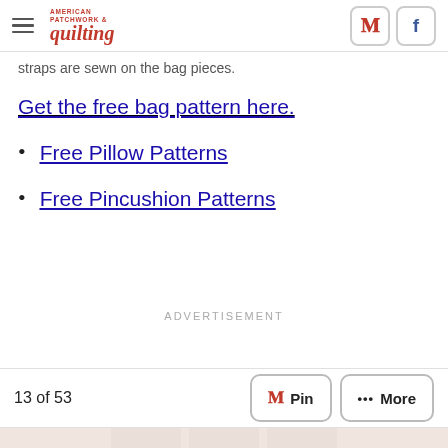American Patchwork & Quilting
straps are sewn on the bag pieces.
Get the free bag pattern here.
Free Pillow Patterns
Free Pincushion Patterns
ADVERTISEMENT
13 of 53